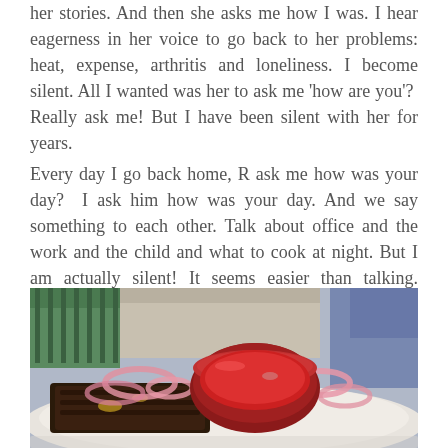her stories. And then she asks me how I was. I hear eagerness in her voice to go back to her problems: heat, expense, arthritis and loneliness. I become silent. All I wanted was her to ask me 'how are you'?  Really ask me! But I have been silent with her for years.
Every day I go back home, R ask me how was your day?  I ask him how was your day. And we say something to each other. Talk about office and the work and the child and what to cook at night. But I am actually silent! It seems easier than talking. Talking has become taxing now.
[Figure (photo): A close-up photo of a food plate with a dark bowl filled with red soup or sauce, accompanied by pink onion rings and dark grilled or cooked meat/food on a white plate, taken outdoors with a green railing visible in the background.]